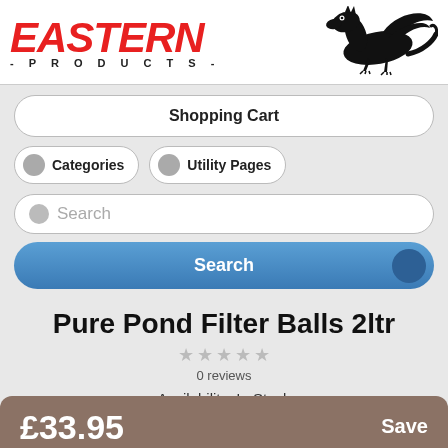[Figure (logo): Eastern Products logo with red bold italic text and black dragon graphic]
Shopping Cart
Categories
Utility Pages
Search
Search
Pure Pond Filter Balls 2ltr
0 reviews
Availability: In Stock
Add to Wish List
£33.95
Save